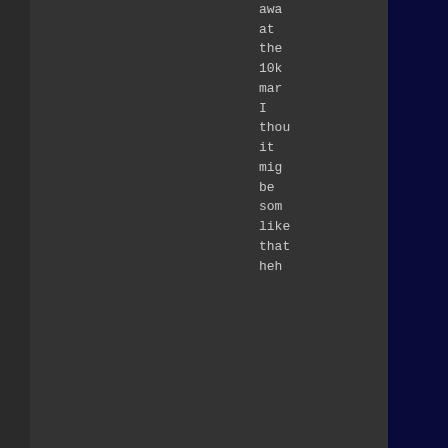give away at the 10k mark I thought it might be something like that heh
Logged
"Do not throw rocks at people with guns